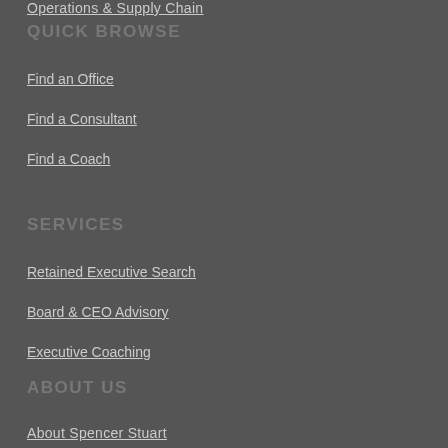Operations & Supply Chain
QUICK BROWSE
Find an Office
Find a Consultant
Find a Coach
SERVICES
Retained Executive Search
Board & CEO Advisory
Executive Coaching
ABOUT US
About Spencer Stuart